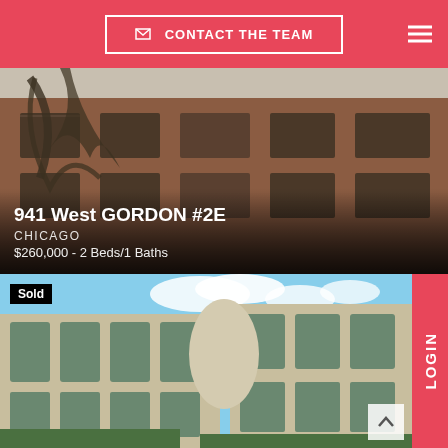CONTACT THE TEAM
[Figure (photo): Exterior photo of a brick apartment building at 941 West Gordon #2E, Chicago, with bare winter trees in foreground]
941 West GORDON #2E
CHICAGO
$260,000 - 2 Beds/1 Baths
[Figure (photo): Exterior photo of a light stone/beige apartment building complex with blue sky background, marked as Sold]
Sold
LOGIN